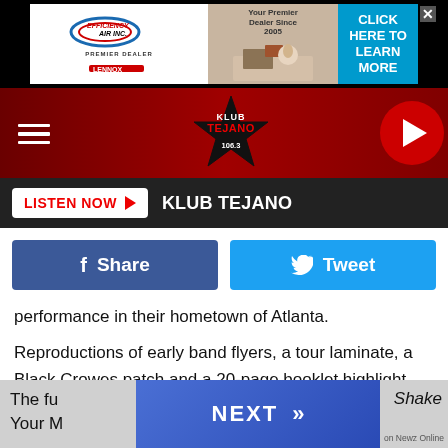[Figure (screenshot): Advertisement banner for Efficiency Air Inc. with logo, product image and 'CLICK HERE TO LEARN MORE' call to action on blue background]
[Figure (logo): Klub Tejano 106.3 radio station navigation bar with hamburger menu, star logo, and play button]
[Figure (screenshot): Listen Now button in red with play arrow, followed by 'KLUB TEJANO' text on dark background]
[Figure (screenshot): Social sharing buttons: Facebook Share (blue) and Twitter Tweet (light blue)]
performance in their hometown of Atlanta.
Reproductions of early band flyers, a tour laminate, a Black Crowes patch and a 20-page booklet highlight the collectibles included in the set, which is due on Feb. 26.
You can listen to “Charming Mess” below.
The ful… Shake Your M…
[Figure (screenshot): NEXT button overlay with double chevron arrows and 'on Newz Online' text on grey background]